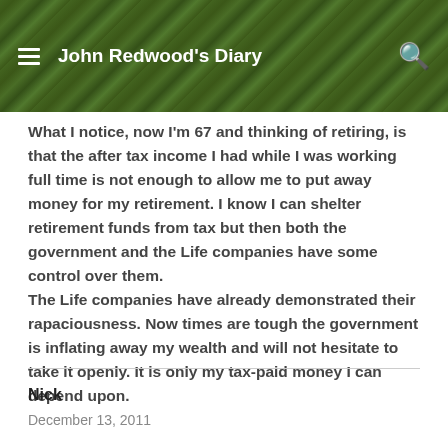John Redwood's Diary
What I notice, now I'm 67 and thinking of retiring, is that the after tax income I had while I was working full time is not enough to allow me to put away money for my retirement. I know I can shelter retirement funds from tax but then both the government and the Life companies have some control over them. The Life companies have already demonstrated their rapaciousness. Now times are tough the government is inflating away my wealth and will not hesitate to take it openly. It is only my tax-paid money I can depend upon.
Nick
December 13, 2011